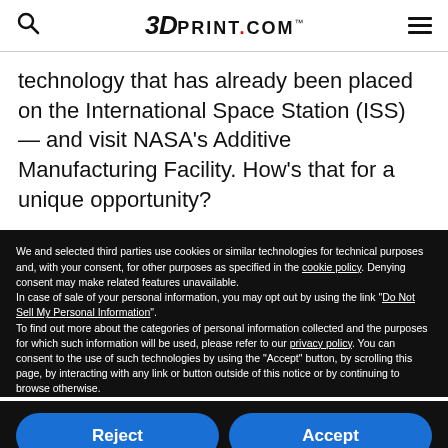3DPRINT.COM™
technology that has already been placed on the International Space Station (ISS) — and visit NASA's Additive Manufacturing Facility. How's that for a unique opportunity?
We and selected third parties use cookies or similar technologies for technical purposes and, with your consent, for other purposes as specified in the cookie policy. Denying consent may make related features unavailable.
In case of sale of your personal information, you may opt out by using the link "Do Not Sell My Personal Information".
To find out more about the categories of personal information collected and the purposes for which such information will be used, please refer to our privacy policy. You can consent to the use of such technologies by using the "Accept" button, by scrolling this page, by interacting with any link or button outside of this notice or by continuing to browse otherwise.
Reject
Accept
Learn more and customize